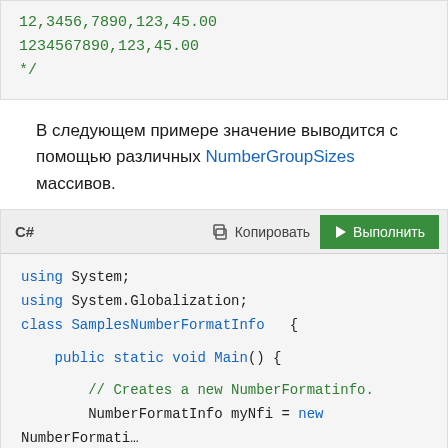[Figure (screenshot): Code output block showing green monospace text: '12,3456,7890,123,45.00', '1234567890,123,45.00', '*/']
В следующем примере значение выводится с помощью различных NumberGroupSizes массивов.
[Figure (screenshot): C# code editor block with toolbar showing 'C#', 'Копировать', 'Выполнить' buttons. Code: using System; using System.Globalization; class SamplesNumberFormatInfo { public static void Main() { // Creates a new NumberFormatinfo. NumberFormatInfo myNfi = new NumberFormati... // Takes a long value. Int64 myInt = 123456789012345; // Displays the value with default formati...]